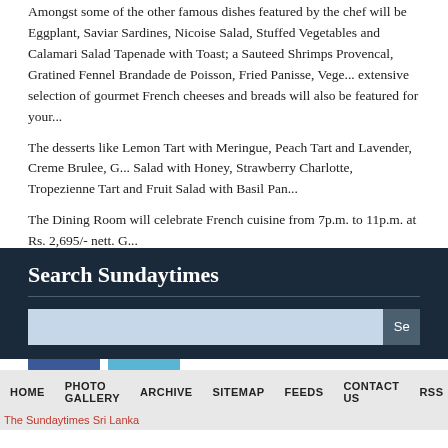Amongst some of the other famous dishes featured by the chef will be Eggplant, Saviar Sardines, Nicoise Salad, Stuffed Vegetables and Calamari Salad Tapenade with Toast; a Sauteed Shrimps Provencal, Gratined Fennel Brandade de Poisson, Fried Panisse, Vege... extensive selection of gourmet French cheeses and breads will also be featured for your...
The desserts like Lemon Tart with Meringue, Peach Tart and Lavender, Creme Brulee, G... Salad with Honey, Strawberry Charlotte, Tropezienne Tart and Fruit Salad with Basil Pan...
The Dining Room will celebrate French cuisine from 7p.m. to 11p.m. at Rs. 2,695/- nett. G...
Share This Post
[Figure (logo): Facebook and Twitter social media share icons]
Search Sundaytimes
Search input box and button
HOME   PHOTO GALLERY   ARCHIVE   SITEMAP   FEEDS   CONTACT US   RSS
The Sundaytimes Sri Lanka